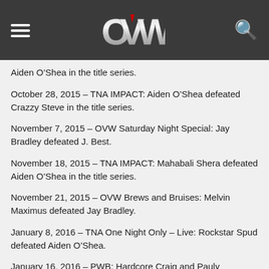OVW
Aiden O’Shea in the title series.
October 28, 2015 – TNA IMPACT: Aiden O’Shea defeated Crazzy Steve in the title series.
November 7, 2015 – OVW Saturday Night Special: Jay Bradley defeated J. Best.
November 18, 2015 – TNA IMPACT: Mahabali Shera defeated Aiden O’Shea in the title series.
November 21, 2015 – OVW Brews and Bruises: Melvin Maximus defeated Jay Bradley.
January 8, 2016 – TNA One Night Only – Live: Rockstar Spud defeated Aiden O’Shea.
January 16, 2016 – PWB: Hardcore Craig and Pauly Thomaselli defeated Aiden O’Shea and Danny Dominion.
January 26, 2016 – TNA IMPACT: Aiden O’Shea was in